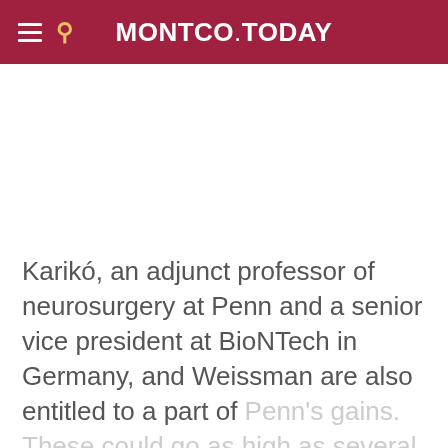MONTCO.TODAY
Karikó, an adjunct professor of neurosurgery at Penn and a senior vice president at BioNTech in Germany, and Weissman are also entitled to a part of Penn's gains. These could go as high as several hundred million dollars split